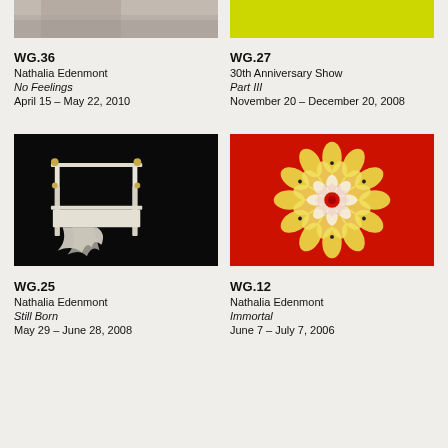[Figure (photo): Partial top crop of artwork image for WG.36, light brown/grey tones]
[Figure (photo): Partial top crop of artwork image for WG.27, bright yellow-green color field]
WG.36
Nathalia Edenmont
No Feelings
April 15 – May 22, 2010
WG.27
30th Anniversary Show
Part III
November 20 – December 20, 2008
[Figure (photo): Black background with a white metal four-poster bed frame with draped white fabric]
[Figure (photo): Red background with circular mandala pattern made of gold and cream butterfly wings]
WG.25
Nathalia Edenmont
Still Born
May 29 – June 28, 2008
WG.12
Nathalia Edenmont
Immortal
June 7 – July 7, 2006